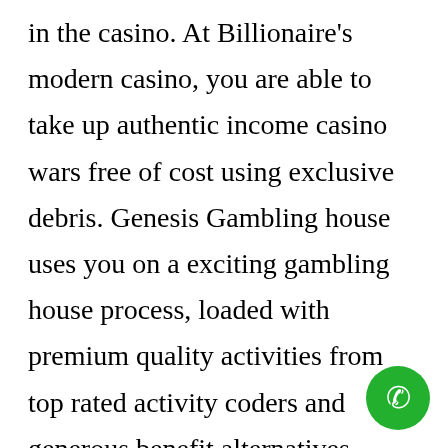in the casino. At Billionaire's modern casino, you are able to take up authentic income casino wars free of cost using exclusive debris. Genesis Gambling house uses you on a exciting gambling house process, loaded with premium quality activities from top rated activity coders and generous benefit alternatives. Keno is among the fastest gambling house game titles to download to some cellular mobile phone and that is because the general sport does not have h...
[Figure (illustration): Green circular phone/call icon button in the bottom-right corner]